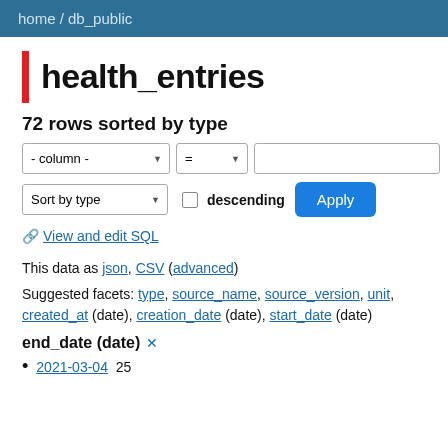home / db_public
health_entries
72 rows sorted by type
View and edit SQL
This data as json, CSV (advanced)
Suggested facets: type, source_name, source_version, unit, created_at (date), creation_date (date), start_date (date)
end_date (date) ✕
2021-03-04 25